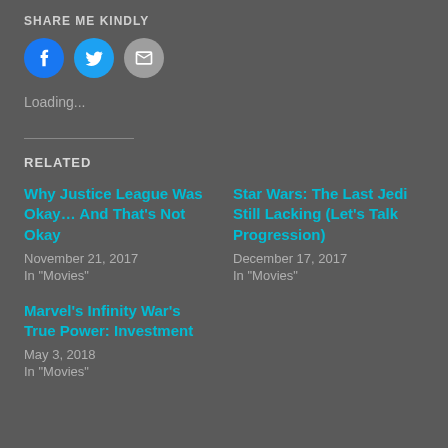SHARE ME KINDLY
[Figure (other): Three social share icon buttons: Facebook (blue circle), Twitter (blue circle), Email (grey circle)]
Loading...
RELATED
Why Justice League Was Okay… And That's Not Okay
November 21, 2017
In "Movies"
Star Wars: The Last Jedi Still Lacking (Let's Talk Progression)
December 17, 2017
In "Movies"
Marvel's Infinity War's True Power: Investment
May 3, 2018
In "Movies"